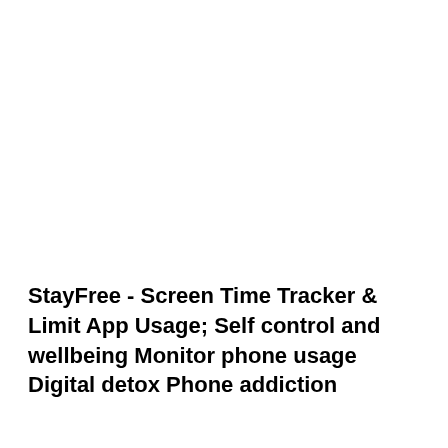StayFree - Screen Time Tracker & Limit App Usage; Self control and wellbeing Monitor phone usage Digital detox Phone addiction